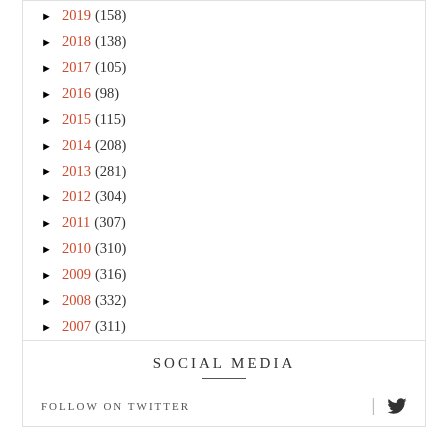► 2019 (158)
► 2018 (138)
► 2017 (105)
► 2016 (98)
► 2015 (115)
► 2014 (208)
► 2013 (281)
► 2012 (304)
► 2011 (307)
► 2010 (310)
► 2009 (316)
► 2008 (332)
► 2007 (311)
► 2006 (291)
► 2005 (267)
SOCIAL MEDIA
FOLLOW ON TWITTER